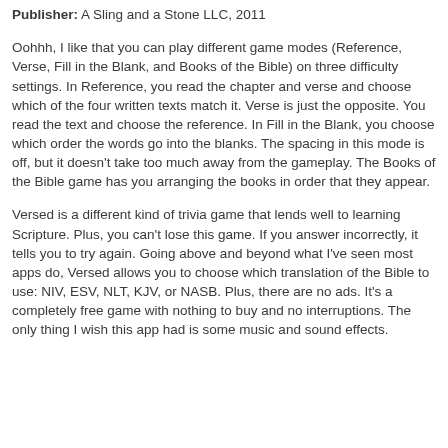Publisher: A Sling and a Stone LLC, 2011
Oohhh, I like that you can play different game modes (Reference, Verse, Fill in the Blank, and Books of the Bible) on three difficulty settings. In Reference, you read the chapter and verse and choose which of the four written texts match it. Verse is just the opposite. You read the text and choose the reference. In Fill in the Blank, you choose which order the words go into the blanks. The spacing in this mode is off, but it doesn't take too much away from the gameplay. The Books of the Bible game has you arranging the books in order that they appear.
Versed is a different kind of trivia game that lends well to learning Scripture. Plus, you can't lose this game. If you answer incorrectly, it tells you to try again. Going above and beyond what I've seen most apps do, Versed allows you to choose which translation of the Bible to use: NIV, ESV, NLT, KJV, or NASB. Plus, there are no ads. It's a completely free game with nothing to buy and no interruptions. The only thing I wish this app had is some music and sound effects.